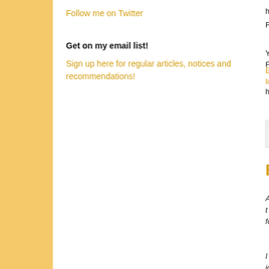Follow me on Twitter
Get on my email list!
Sign up here for regular articles, notices and recommendations!
https://oilp...Flows.htm
Yahoo Fin...
Europe lu...
https://fina...
Posted by
Biden
At t... foll...
I jo...
The Lens
Biden's Pl...
Stephanie